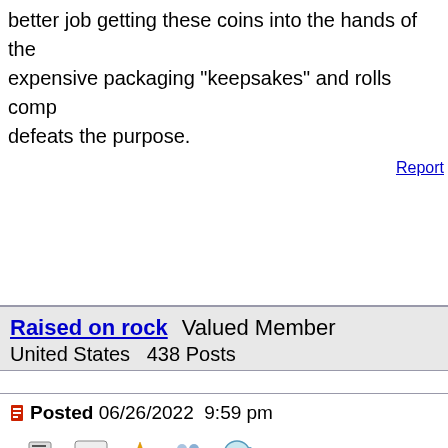better job getting these coins into the hands of the expensive packaging "keepsakes" and rolls comp defeats the purpose.
Report
Raised on rock  Valued Member
United States  438 Posts
Posted 06/26/2022  9:59 pm
Thanks for the info. Something to add to the Loon Twonies next year.
Report
mice45  Valued Member